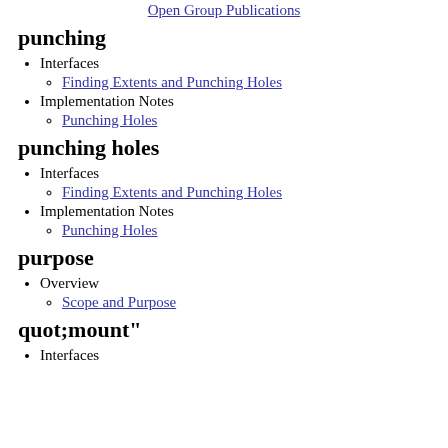Open Group Publications
punching
Interfaces
Finding Extents and Punching Holes
Implementation Notes
Punching Holes
punching holes
Interfaces
Finding Extents and Punching Holes
Implementation Notes
Punching Holes
purpose
Overview
Scope and Purpose
quot;mount"
Interfaces